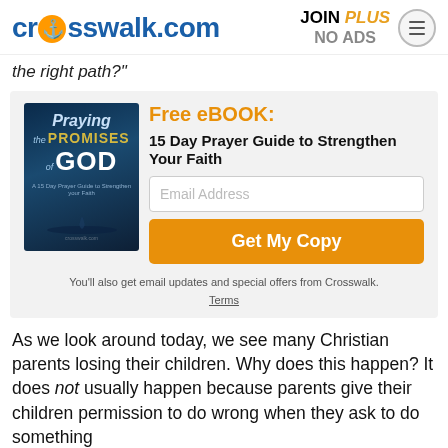crosswalk.com | JOIN PLUS NO ADS
the right path?"
[Figure (infographic): Promotional box with book cover 'Praying the Promises of God - 15 Day Prayer Guide to Strengthen your Faith' and email signup for free ebook]
You'll also get email updates and special offers from Crosswalk.
Terms
As we look around today, we see many Christian parents losing their children. Why does this happen? It does not usually happen because parents give their children permission to do wrong when they ask to do something